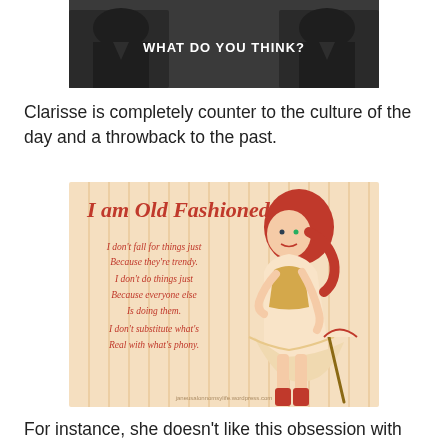[Figure (photo): Black and white photo of two people in suits with overlaid text 'WHAT DO YOU THINK?']
Clarisse is completely counter to the culture of the day and a throwback to the past.
[Figure (illustration): Vintage-style illustration of a red-haired pin-up girl in old fashioned dress with text: 'I am Old Fashioned. I don't fall for things just Because they're trendy. I don't do things just Because everyone else Is doing them. I don't substitute what's Real with what's phony.' Watermark: janeusalonnomsylife.wordpress.com]
For instance, she doesn't like this obsession with